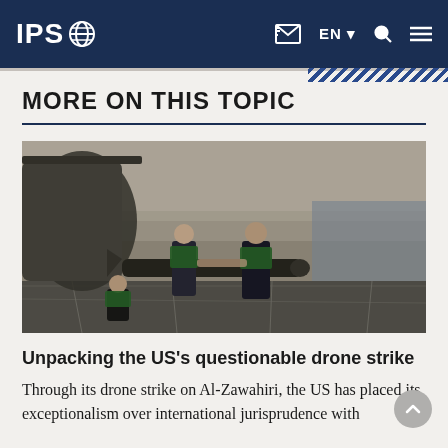IPS — EN — navigation icons
MORE ON THIS TOPIC
[Figure (photo): Three military personnel in green vests on an aircraft carrier deck handling a missile or ordnance attached to a helicopter]
Unpacking the US's questionable drone strike
Through its drone strike on Al-Zawahiri, the US has placed its exceptionalism over international jurisprudence with